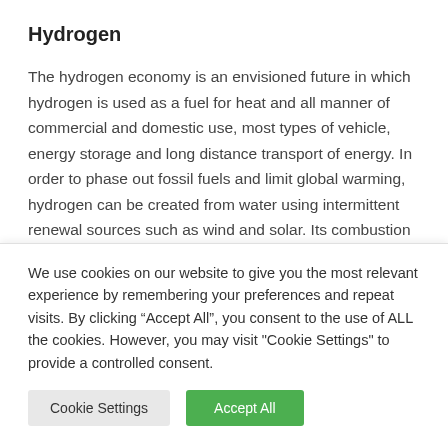Hydrogen
The hydrogen economy is an envisioned future in which hydrogen is used as a fuel for heat and all manner of commercial and domestic use, most types of vehicle, energy storage and long distance transport of energy. In order to phase out fossil fuels and limit global warming, hydrogen can be created from water using intermittent renewal sources such as wind and solar. Its combustion only releases water vapour to the atmosphere. However, in the
We use cookies on our website to give you the most relevant experience by remembering your preferences and repeat visits. By clicking “Accept All”, you consent to the use of ALL the cookies. However, you may visit "Cookie Settings" to provide a controlled consent.